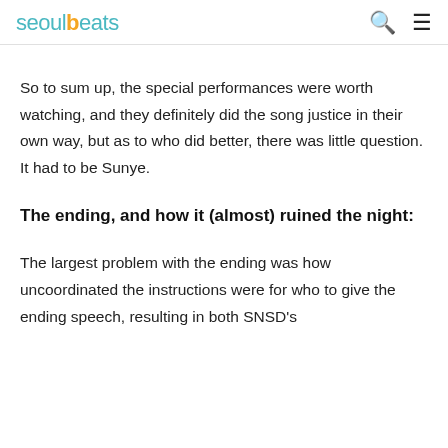seoulbeats
So to sum up, the special performances were worth watching, and they definitely did the song justice in their own way, but as to who did better, there was little question. It had to be Sunye.
The ending, and how it (almost) ruined the night:
The largest problem with the ending was how uncoordinated the instructions were for who to give the ending speech, resulting in both SNSD's